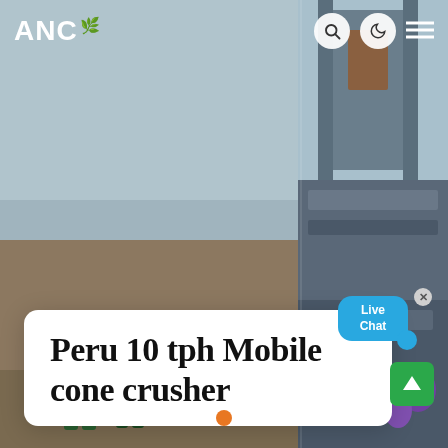ANC
[Figure (photo): Background composite image showing construction workers on the left side and a large industrial mobile cone crusher machine (gray steel structure) on the right side, with a hazy sky above.]
Peru 10 tph Mobile cone crusher